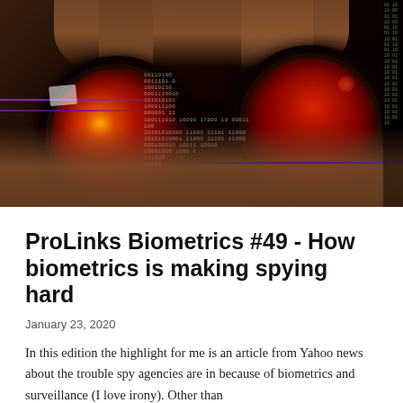[Figure (photo): Close-up photo of a person holding binoculars up to their eyes. The binoculars show red-tinted reflections. Binary code (0s and 1s) is overlaid digitally across the center of the image. Purple horizontal lines appear on the left side. The right edge shows a dark strip with digital binary text. The overall color palette is dark red, black, and brown skin tones.]
ProLinks Biometrics #49 - How biometrics is making spying hard
January 23, 2020
In this edition the highlight for me is an article from Yahoo news about the trouble spy agencies are in because of biometrics and surveillance (I love irony). Other than